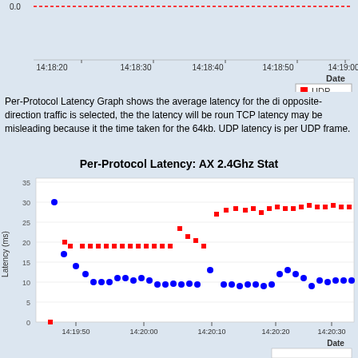[Figure (continuous-plot): Top portion of Per-Protocol Latency scatter plot showing UDP latency near 0.0 ms with red dashed line from approximately 14:18:20 to 14:19:00, with legend showing UDP in red square]
Per-Protocol Latency Graph shows the average latency for the di opposite-direction traffic is selected, the the latency will be roun TCP latency may be misleading because it the time taken for the 64kb. UDP latency is per UDP frame.
Per-Protocol Latency: AX 2.4Ghz Stat
[Figure (scatter-plot): Scatter plot of TCP (blue circles) and UDP (red squares) latency over time from 14:19:40 to 14:20:30+. TCP values range ~9-30ms, UDP values range ~1-29ms.]